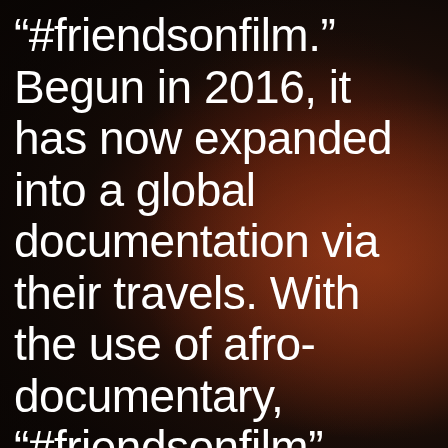“#friendsonfilm.” Begun in 2016, it has now expanded into a global documentation via their travels. With the use of afro-documentary, “#friendsonfilm” explores the recurring themes surrounding their identity, sexuality, grief, race, family, and